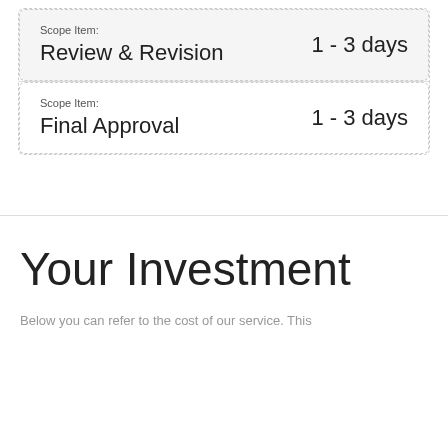| Scope Item | Duration |
| --- | --- |
| Review & Revision | 1 - 3 days |
| Final Approval | 1 - 3 days |
Your Investment
Below you can refer to the cost of our service. This